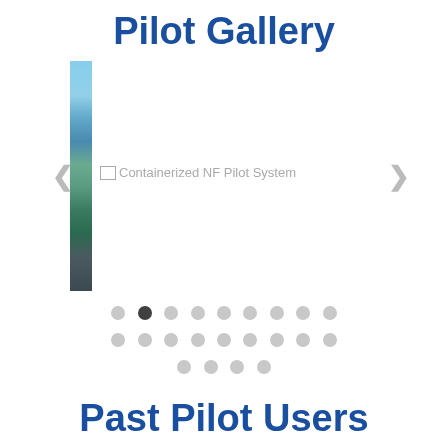Pilot Gallery
[Figure (screenshot): Image gallery slideshow showing a narrow vertical strip of a landscape/waterscape photo on the left side, with navigation arrows on each side and broken image placeholder labeled 'Containerized NF Pilot System' in the center area.]
[Figure (other): Pagination dots: 3 rows of dots, second dot in first row is active (dark), rest are light gray. Row 1: 9 dots, Row 2: 9 dots, Row 3: 4 dots.]
Past Pilot Users